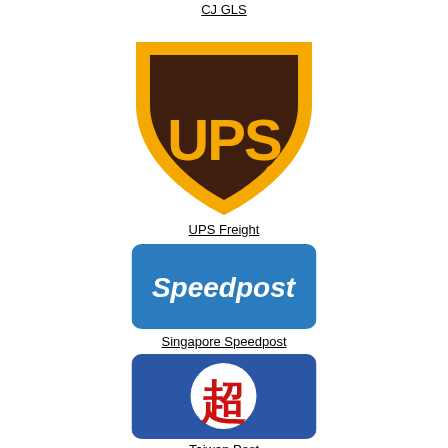CJ GLS
[Figure (logo): UPS Freight logo — gold shield shape with dark brown UPS letters]
UPS Freight
[Figure (logo): Singapore Speedpost logo — blue rounded rectangle with white italic Speedpost text]
Singapore Speedpost
[Figure (logo): Taiwan Post logo — blue rounded square with white circle containing red Chinese postal character]
Taiwan Post